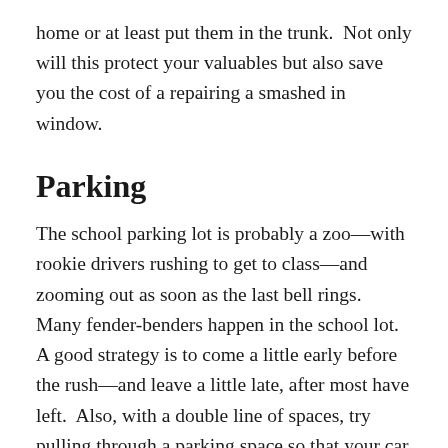home or at least put them in the trunk.  Not only will this protect your valuables but also save you the cost of a repairing a smashed in window.
Parking
The school parking lot is probably a zoo—with rookie drivers rushing to get to class—and zooming out as soon as the last bell rings.  Many fender-benders happen in the school lot.  A good strategy is to come a little early before the rush—and leave a little late, after most have left.  Also, with a double line of spaces, try pulling through a parking space so that your car is